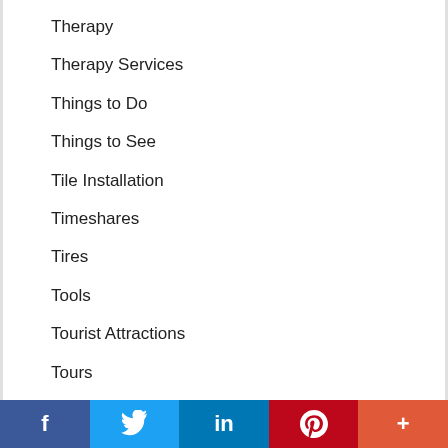Therapy
Therapy Services
Things to Do
Things to See
Tile Installation
Timeshares
Tires
Tools
Tourist Attractions
Tours
Towing
Trailers
Training
Trash Removal
f  Twitter  in  P  +